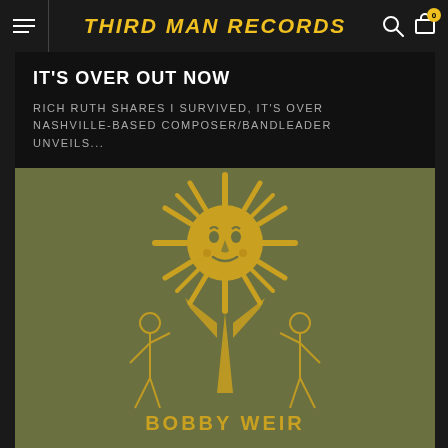THIRD MAN RECORDS
IT'S OVER OUT NOW
RICH RUTH SHARES I SURVIVED, IT'S OVER NASHVILLE-BASED COMPOSER/BANDLEADER UNVEILS...
[Figure (illustration): Album artwork on olive/khaki green background featuring a golden sun face at the top with rays, and below it two skeletal figures flanking a central figure, with text 'BOBBY WEIR' at the bottom]